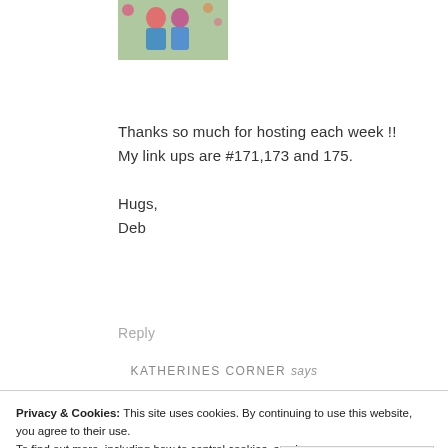[Figure (photo): Small thumbnail photo of two people outdoors with flowers in background]
Thanks so much for hosting each week !! My link ups are #171,173 and 175.
Hugs,
Deb
Reply
KATHERINES CORNER says
Privacy & Cookies: This site uses cookies. By continuing to use this website, you agree to their use.
To find out more, including how to control cookies, see here:
Cookie Policy
Close and accept